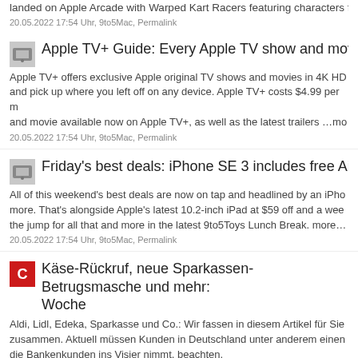landed on Apple Arcade with Warped Kart Racers featuring characters fro
20.05.2022 17:54 Uhr, 9to5Mac, Permalink
Apple TV+ Guide: Every Apple TV show and movie available
Apple TV+ offers exclusive Apple original TV shows and movies in 4K HD and pick up where you left off on any device. Apple TV+ costs $4.99 per m and movie available now on Apple TV+, as well as the latest trailers …mo
20.05.2022 17:54 Uhr, 9to5Mac, Permalink
Friday's best deals: iPhone SE 3 includes free AirPods 3, 10
All of this weekend's best deals are now on tap and headlined by an iPho more. That's alongside Apple's latest 10.2-inch iPad at $59 off and a wee the jump for all that and more in the latest 9to5Toys Lunch Break. more…
20.05.2022 17:54 Uhr, 9to5Mac, Permalink
Käse-Rückruf, neue Sparkassen-Betrugsmasche und mehr: Woche
Aldi, Lidl, Edeka, Sparkasse und Co.: Wir fassen in diesem Artikel für Sie zusammen. Aktuell müssen Kunden in Deutschland unter anderem einen die Bankenkunden ins Visier nimmt, beachten.
20.05.2022 17:54 Uhr, CHIP, Permalink